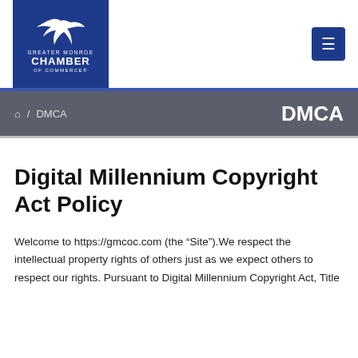[Figure (logo): Greater Monroe Chamber of Commerce logo — blue square background with white flying bird/goose silhouette and text 'GREATER MONROE CHAMBER OF COMMERCE']
DMCA
Digital Millennium Copyright Act Policy
Welcome to https://gmcoc.com (the “Site”).We respect the intellectual property rights of others just as we expect others to respect our rights. Pursuant to Digital Millennium Copyright Act, Title